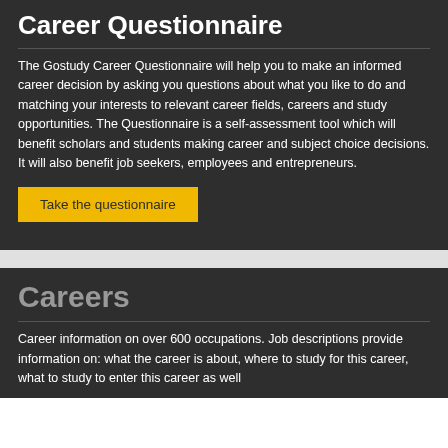Career Questionnaire
The Gostudy Career Questionnaire will help you to make an informed career decision by asking you questions about what you like to do and matching your interests to relevant career fields, careers and study opportunities. The Questionnaire is a self-assessment tool which will benefit scholars and students making career and subject choice decisions. It will also benefit job seekers, employees and entrepreneurs.
Take the questionnaire
Careers
Career information on over 600 occupations. Job descriptions provide information on: what the career is about, where to study for this career, what to study to enter this career as well